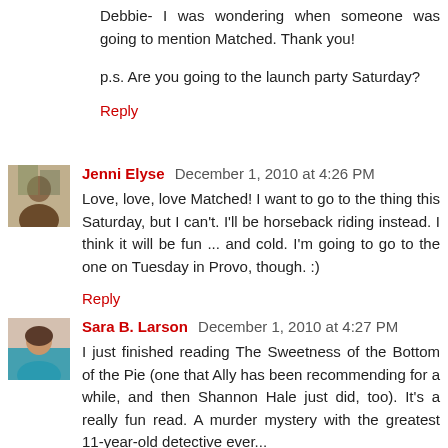Debbie- I was wondering when someone was going to mention Matched. Thank you!
p.s. Are you going to the launch party Saturday?
Reply
Jenni Elyse  December 1, 2010 at 4:26 PM
Love, love, love Matched! I want to go to the thing this Saturday, but I can't. I'll be horseback riding instead. I think it will be fun ... and cold. I'm going to go to the one on Tuesday in Provo, though. :)
Reply
Sara B. Larson  December 1, 2010 at 4:27 PM
I just finished reading The Sweetness of the Bottom of the Pie (one that Ally has been recommending for a while, and then Shannon Hale just did, too). It's a really fun read. A murder mystery with the greatest 11-year-old detective ever...